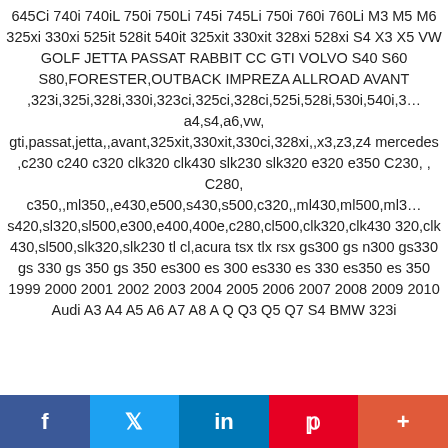645Ci 740i 740iL 750i 750Li 745i 745Li 750i 760i 760Li M3 M5 M6 325xi 330xi 525it 528it 540it 325xit 330xit 328xi 528xi S4 X3 X5 VW GOLF JETTA PASSAT RABBIT CC GTI VOLVO S40 S60 S80,FORESTER,OUTBACK IMPREZA ALLROAD AVANT ,323i,325i,328i,330i,323ci,325ci,328ci,525i,528i,530i,540i,3… a4,s4,a6,vw, gti,passat,jetta,,avant,325xit,330xit,330ci,328xi,,x3,z3,z4 mercedes ,c230 c240 c320 clk320 clk430 slk230 slk320 e320 e350 C230, , C280, c350,,ml350,,e430,e500,s430,s500,c320,,ml430,ml500,ml3… s420,sl320,sl500,e300,e400,400e,c280,cl500,clk320,clk430 320,clk 430,sl500,slk320,slk230 tl cl,acura tsx tlx rsx gs300 gs n300 gs330 gs 330 gs 350 gs 350 es300 es 300 es330 es 330 es350 es 350 1999 2000 2001 2002 2003 2004 2005 2006 2007 2008 2009 2010 Audi A3 A4 A5 A6 A7 A8 A Q Q3 Q5 Q7 S4 BMW 323i
[Figure (infographic): Social media sharing bar with Facebook, Twitter, LinkedIn, Pinterest, and More (+) buttons]